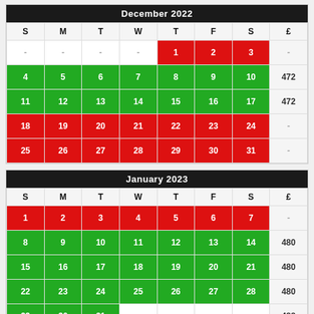| S | M | T | W | T | F | S | £ |
| --- | --- | --- | --- | --- | --- | --- | --- |
| - | - | - | - | 1 | 2 | 3 | - |
| 4 | 5 | 6 | 7 | 8 | 9 | 10 | 472 |
| 11 | 12 | 13 | 14 | 15 | 16 | 17 | 472 |
| 18 | 19 | 20 | 21 | 22 | 23 | 24 | - |
| 25 | 26 | 27 | 28 | 29 | 30 | 31 | - |
| S | M | T | W | T | F | S | £ |
| --- | --- | --- | --- | --- | --- | --- | --- |
| 1 | 2 | 3 | 4 | 5 | 6 | 7 | - |
| 8 | 9 | 10 | 11 | 12 | 13 | 14 | 480 |
| 15 | 16 | 17 | 18 | 19 | 20 | 21 | 480 |
| 22 | 23 | 24 | 25 | 26 | 27 | 28 | 480 |
| 29 | 30 | 31 | - | - | - | - | 488 |